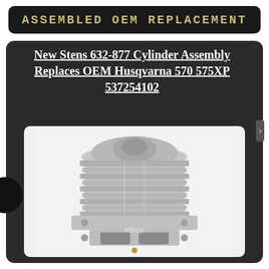ASSEMBLED OEM REPLACEMENT
New Stens 632-877 Cylinder Assembly Replaces OEM Husqvarna 570 575XP 537254102
[Figure (photo): Photograph of a Stens 632-877 cylinder assembly replacement part for Husqvarna 570 575XP chainsaw, showing silver aluminum cylinder with fins and mounting flange, viewed from above at an angle. eBay watermark visible at bottom.]